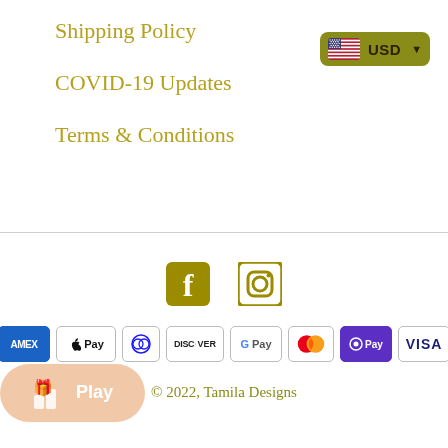Shipping Policy
[Figure (other): Currency selector button showing US flag and USD label]
COVID-19 Updates
Terms & Conditions
[Figure (other): Social media icons: Facebook and Instagram in gold/olive color]
[Figure (other): Payment method badges: American Express, Apple Pay, Diners Club, Discover, Google Pay, Mastercard, O Pay, Visa]
[Figure (other): Play button widget in peach/salmon color]
© 2022, Tamila Designs